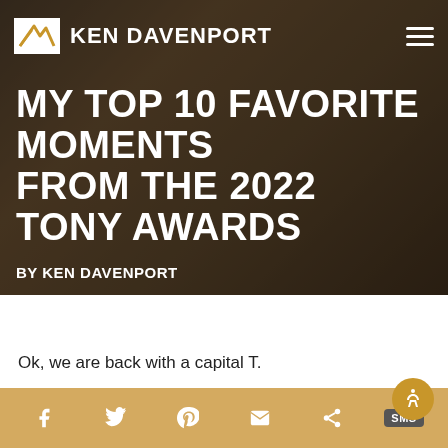KEN DAVENPORT
MY TOP 10 FAVORITE MOMENTS FROM THE 2022 TONY AWARDS
BY KEN DAVENPORT
Ok, we are back with a capital T.
f  Twitter  Pinterest  Mail  Share  SMS